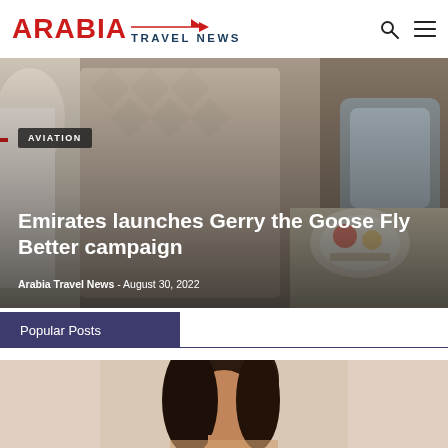ARABIA TRAVEL NEWS
[Figure (photo): Interior of an airplane cabin with luxury seats and a meal service visible, person in background]
AVIATION
Emirates launches Gerry the Goose Fly Better campaign
Arabia Travel News - August 30, 2022
Popular Posts
[Figure (photo): Portrait of a woman with dark hair against a light background]